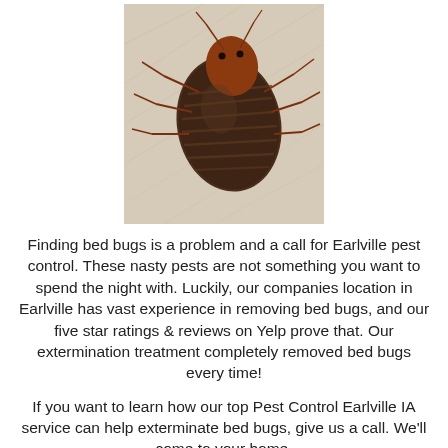[Figure (photo): Close-up photo of a bed bug on a light beige fabric surface. The insect is dark brown with a flat oval body and small reddish-brown head with antennae and legs visible.]
Finding bed bugs is a problem and a call for Earlville pest control. These nasty pests are not something you want to spend the night with. Luckily, our companies location in Earlville has vast experience in removing bed bugs, and our five star ratings & reviews on Yelp prove that. Our extermination treatment completely removed bed bugs every time!
If you want to learn how our top Pest Control Earlville IA service can help exterminate bed bugs, give us a call. We'll come to your home,